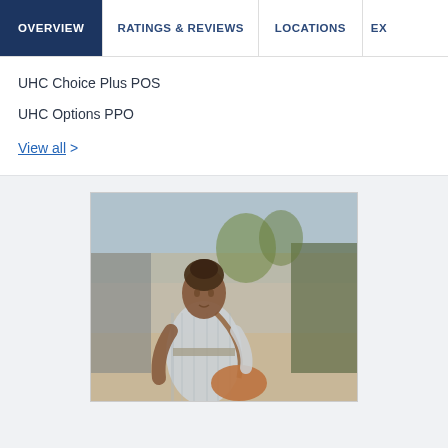OVERVIEW | RATINGS & REVIEWS | LOCATIONS | EX…
UHC Choice Plus POS
UHC Options PPO
View all >
[Figure (photo): A woman with natural hair wearing a light blue striped shirt dress and carrying a brown shoulder bag, walking on a sunny urban sidewalk with trees and storefronts in the background.]